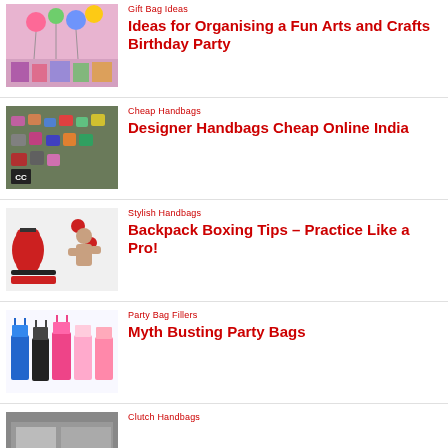Gift Bag Ideas
Ideas for Organising a Fun Arts and Crafts Birthday Party
Cheap Handbags
Designer Handbags Cheap Online India
Stylish Handbags
Backpack Boxing Tips – Practice Like a Pro!
Party Bag Fillers
Myth Busting Party Bags
Clutch Handbags